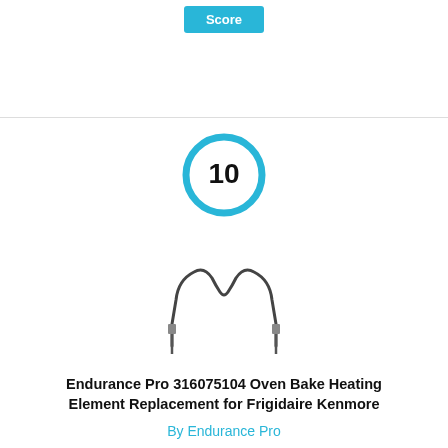[Figure (other): Blue 'Score' button at the top of the page]
[Figure (other): Score circle showing number 10 with blue outline ring]
[Figure (illustration): Product image of an oven bake heating element shaped like an M/W form with mounting brackets]
Endurance Pro 316075104 Oven Bake Heating Element Replacement for Frigidaire Kenmore
By Endurance Pro
View Product